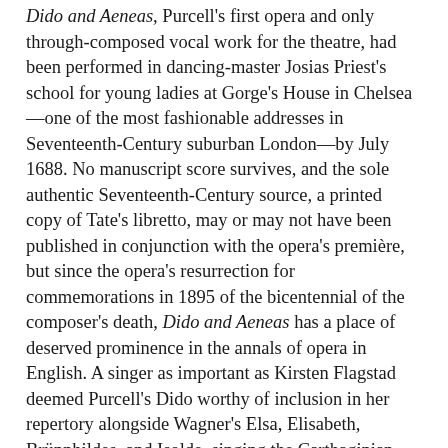Dido and Aeneas, Purcell's first opera and only through-composed vocal work for the theatre, had been performed in dancing-master Josias Priest's school for young ladies at Gorge's House in Chelsea—one of the most fashionable addresses in Seventeenth-Century suburban London—by July 1688. No manuscript score survives, and the sole authentic Seventeenth-Century source, a printed copy of Tate's libretto, may or may not have been published in conjunction with the opera's première, but since the opera's resurrection for commemorations in 1895 of the bicentennial of the composer's death, Dido and Aeneas has a place of deserved prominence in the annals of opera in English. A singer as important as Kirsten Flagstad deemed Purcell's Dido worthy of inclusion in her repertory alongside Wagner's Elsa, Elisabeth, Brünnhildes, and Isolde, singing the Carthaginian queen in performances in Bernard Miles's 200-seat Mermaid Theatre in the St. John's Wood section of London and recording the rôle for HMV. Nancy Evans and Dame Joan Hammond had already recorded Dido before Flagstad's surprisingly stylish interpretation was committed to vinyl in 1952, ushering in an era of rediscovery that continues to periodically redefine standards of performance of Purcell's music in the Twenty-First Century. From the